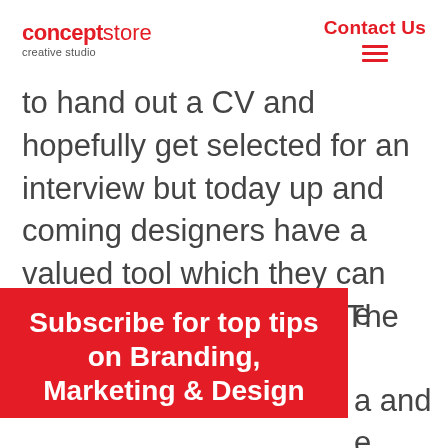conceptstore creative studio | Contact Us
to hand out a CV and hopefully get selected for an interview but today up and coming designers have a valued tool which they can use to their advantage. The tool is of
[Figure (infographic): Red overlay panel with white bold text: 'Subscribe for top tips on Branding, Marketing & Design' with a Name input field below]
a and e your you're